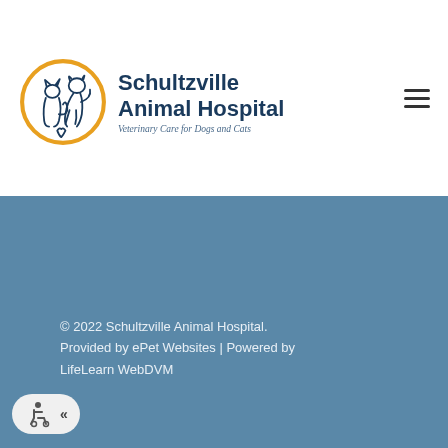[Figure (logo): Schultzville Animal Hospital logo: yellow circle with blue outline of cat and dog silhouette, with text 'Schultzville Animal Hospital' and tagline 'Veterinary Care for Dogs and Cats']
© 2022 Schultzville Animal Hospital. Provided by ePet Websites | Powered by LifeLearn WebDVM